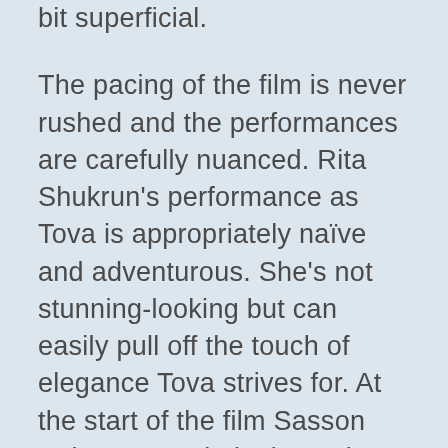bit superficial.
The pacing of the film is never rushed and the performances are carefully nuanced. Rita Shukrun's performance as Tova is appropriately naïve and adventurous. She's not stunning-looking but can easily pull off the touch of elegance Tova strives for. At the start of the film Sasson Babay, as Meir, looks and feels like a sad sap (think of an older version of C.C. Baxter in Billy Wilder's The Apartment or Lester Burnham in American Beauty) but slowly and without much notice he blossoms before our eyes. Lior Ashkenazi as Itzik is big, charismatic, and sexy enough to make us see why everyone would want to be friends with him.